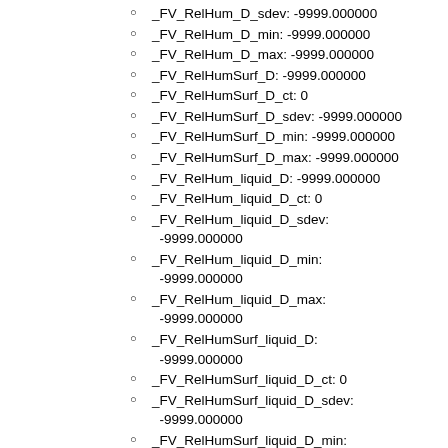_FV_RelHum_D_sdev: -9999.000000
_FV_RelHum_D_min: -9999.000000
_FV_RelHum_D_max: -9999.000000
_FV_RelHumSurf_D: -9999.000000
_FV_RelHumSurf_D_ct: 0
_FV_RelHumSurf_D_sdev: -9999.000000
_FV_RelHumSurf_D_min: -9999.000000
_FV_RelHumSurf_D_max: -9999.000000
_FV_RelHum_liquid_D: -9999.000000
_FV_RelHum_liquid_D_ct: 0
_FV_RelHum_liquid_D_sdev: -9999.000000
_FV_RelHum_liquid_D_min: -9999.000000
_FV_RelHum_liquid_D_max: -9999.000000
_FV_RelHumSurf_liquid_D: -9999.000000
_FV_RelHumSurf_liquid_D_ct: 0
_FV_RelHumSurf_liquid_D_sdev: -9999.000000
_FV_RelHumSurf_liquid_D_min: -9999.000000
_FV_RelHumSurf_liquid_D_max: -9999.000000